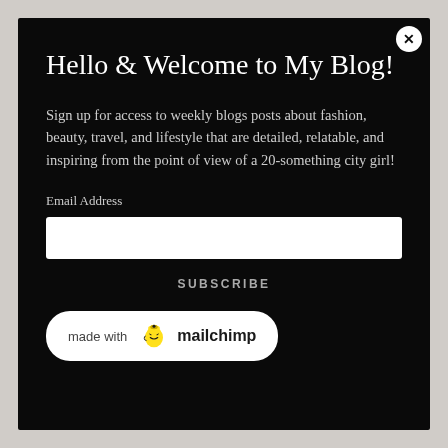Hello & Welcome to My Blog!
Sign up for access to weekly blogs posts about fashion, beauty, travel, and lifestyle that are detailed, relatable, and inspiring from the point of view of a 20-something city girl!
Email Address
SUBSCRIBE
[Figure (logo): Mailchimp badge with monkey logo: 'made with mailchimp']